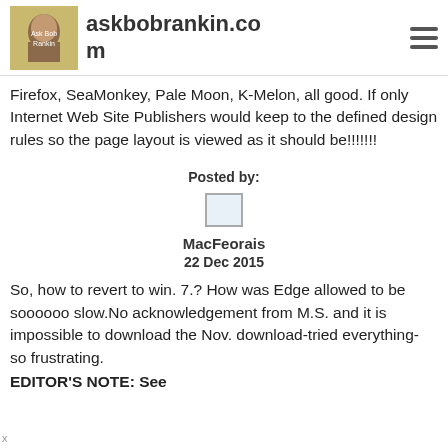askbobrankin.com
Firefox, SeaMonkey, Pale Moon, K-Melon, all good. If only Internet Web Site Publishers would keep to the defined design rules so the page layout is viewed as it should be!!!!!!!
Posted by:
MacFeorais
22 Dec 2015
So, how to revert to win. 7.? How was Edge allowed to be soooooo slow.No acknowledgement from M.S. and it is impossible to download the Nov. download-tried everything- so frustrating.
EDITOR'S NOTE: See